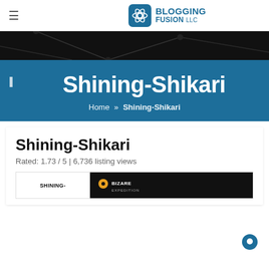Blogging Fusion LLC
[Figure (screenshot): Dark banner with geometric network lines]
Shining-Shikari
Home » Shining-Shikari
Shining-Shikari
Rated: 1.73 / 5 | 6,736 listing views
[Figure (screenshot): Website preview strip showing Shining-Shikari and Bizare Expedition logos]